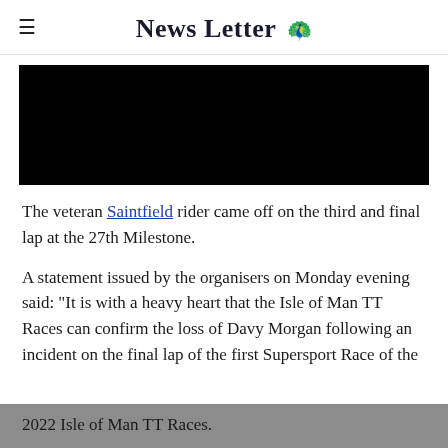News Letter
[Figure (photo): Black rectangle representing a redacted or loading photo image]
The veteran Saintfield rider came off on the third and final lap at the 27th Milestone.
A statement issued by the organisers on Monday evening said: "It is with a heavy heart that the Isle of Man TT Races can confirm the loss of Davy Morgan following an incident on the final lap of the first Supersport Race of the 2022 Isle of Man TT Races.